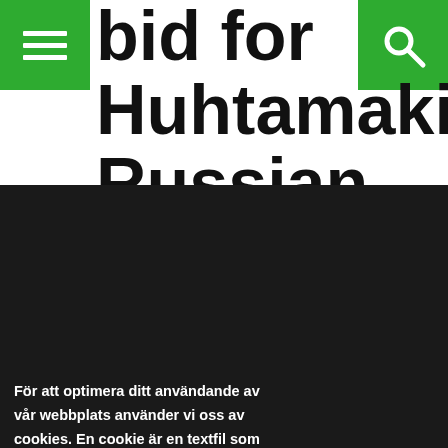bid for Huhtamaki's Russian operations
För att optimera ditt användande av vår webbplats använder vi oss av cookies. En cookie är en textfil som sparas på din dator. Om du önskar ytterligare information om vad en cookie är, vilka cookies vi använder, vad syftet med cookien är eller hur du kan blockera eller radera cookies, vänligen läs Om cookies.
Jag godkänner